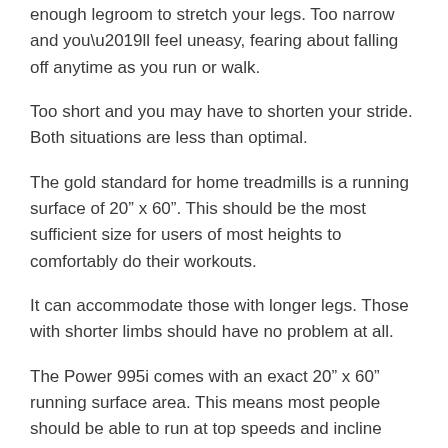enough legroom to stretch your legs. Too narrow and you’ll feel uneasy, fearing about falling off anytime as you run or walk.
Too short and you may have to shorten your stride. Both situations are less than optimal.
The gold standard for home treadmills is a running surface of 20” x 60”. This should be the most sufficient size for users of most heights to comfortably do their workouts.
It can accommodate those with longer legs. Those with shorter limbs should have no problem at all.
The Power 995i comes with an exact 20” x 60” running surface area. This means most people should be able to run at top speeds and incline levels comfortably without